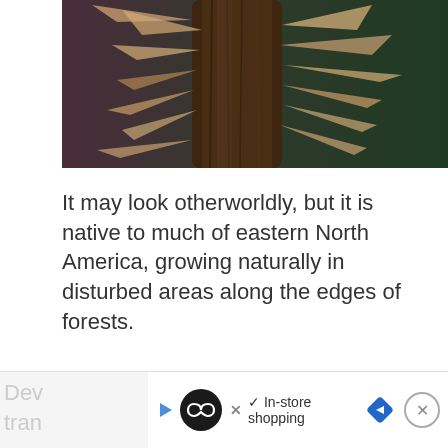[Figure (photo): Close-up macro photograph of spiny thorns on a dark brown woody stem of Devil's Walking Stick plant, with blurred dark purple and green background]
It may look otherworldly, but it is native to much of eastern North America, growing naturally in disturbed areas along the edges of forests.
Devil's Walking Stick